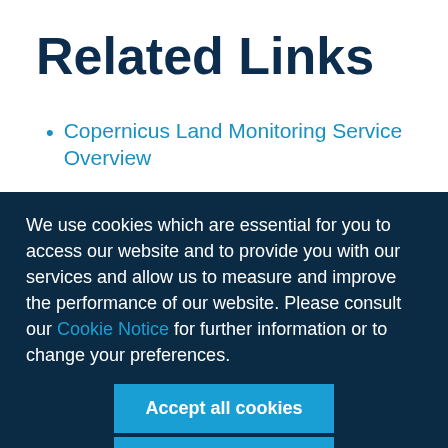Related Links
Copernicus Land Monitoring Service Overview
We use cookies which are essential for you to access our website and to provide you with our services and allow us to measure and improve the performance of our website. Please consult our Cookie Notice for further information or to change your preferences.
Accept all cookies
No, thanks!